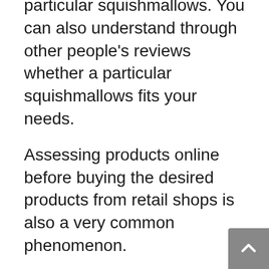particular squishmallows. You can also understand through other people's reviews whether a particular squishmallows fits your needs.
Assessing products online before buying the desired products from retail shops is also a very common phenomenon.
While doing the crucial research on the squishmallowss available in the market, you might ask yourself a few questions that will help you reach your decision:
Are squishmallowss worth buying?
What are the various pros and cons that come with purchasing